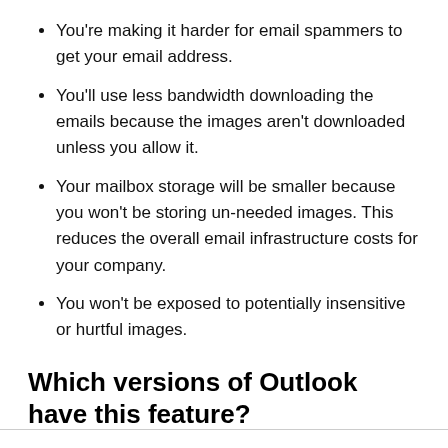You're making it harder for email spammers to get your email address.
You'll use less bandwidth downloading the emails because the images aren't downloaded unless you allow it.
Your mailbox storage will be smaller because you won't be storing un-needed images. This reduces the overall email infrastructure costs for your company.
You won't be exposed to potentially insensitive or hurtful images.
Which versions of Outlook have this feature?